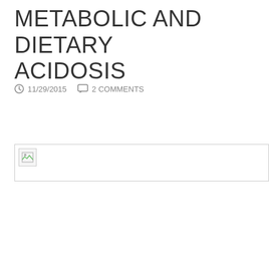METABOLIC AND DIETARY ACIDOSIS
11/29/2015   2 COMMENTS
[Figure (photo): Broken/unloaded image placeholder with border, partially visible in upper portion of the frame]